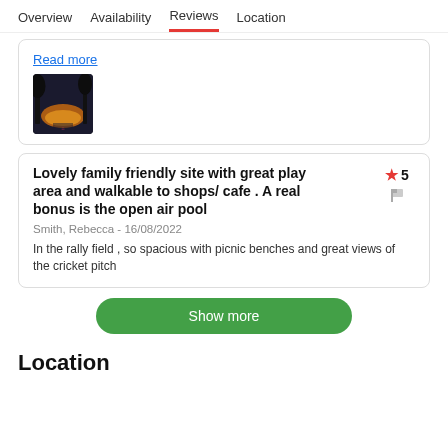Overview   Availability   Reviews   Location
Read more
[Figure (photo): Small thumbnail photo showing a sunset or outdoor scene with trees, Airbnb logo visible at bottom]
Lovely family friendly site with great play area and walkable to shops/ cafe . A real bonus is the open air pool
★ 5
Smith, Rebecca - 16/08/2022
In the rally field , so spacious with picnic benches and great views of the cricket pitch
Show more
Location